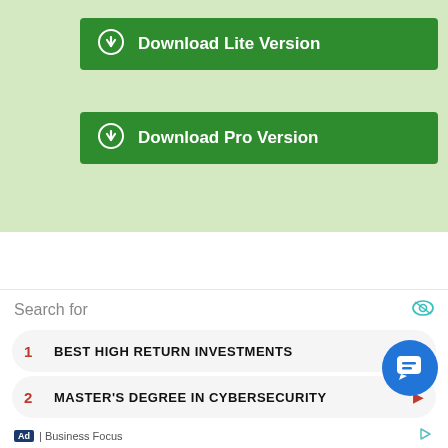[Figure (screenshot): Green download button labeled 'Download Lite Version' with a download circle icon on a light green background]
[Figure (screenshot): Green download button labeled 'Download Pro Version' with a download circle icon on a light green background]
Search for
1  BEST HIGH RETURN INVESTMENTS
2  MASTER'S DEGREE IN CYBERSECURITY
Ad | Business Focus